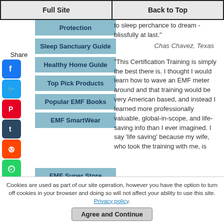Full Site | Back to Top
Protection
Sleep Sanctuary Guide
Healthy Home Guide
Top Pick Products
Popular EMF Books
EMF SmartWear
EMF Super Store
to sleep perchance to dream - blissfully at last."
Chas Chavez, Texas
"This Certification Training is simply the best there is. I thought I would learn how to wave an EMF meter around and that training would be very American based, and instead I learned more professionally valuable, global-in-scope, and life-saving info than I ever imagined. I say 'life saving' because my wife, who took the training with me, is
Cookies are used as part of our site operation, however you have the option to turn off cookies in your browser and doing so will not affect your ability to use this site. Privacy policy.
Agree and Continue